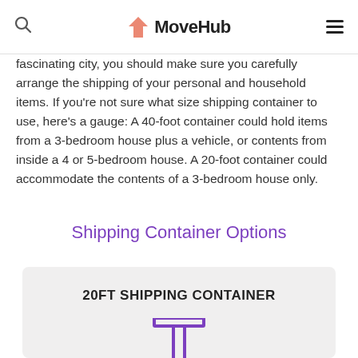MoveHub
fascinating city, you should make sure you carefully arrange the shipping of your personal and household items. If you're not sure what size shipping container to use, here's a gauge: A 40-foot container could hold items from a 3-bedroom house plus a vehicle, or contents from inside a 4 or 5-bedroom house. A 20-foot container could accommodate the contents of a 3-bedroom house only.
Shipping Container Options
20FT SHIPPING CONTAINER